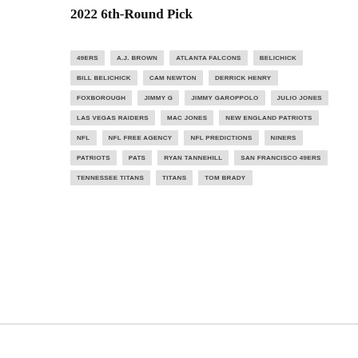2022 6th-Round Pick
49ERS
A.J. BROWN
ATLANTA FALCONS
BELICHICK
BILL BELICHICK
CAM NEWTON
DERRICK HENRY
FOXBOROUGH
JIMMY G
JIMMY GAROPPOLO
JULIO JONES
LAS VEGAS RAIDERS
MAC JONES
NEW ENGLAND PATRIOTS
NFL
NFL FREE AGENCY
NFL PREDICTIONS
NINERS
PATRIOTS
PATS
RYAN TANNEHILL
SAN FRANCISCO 49ERS
TENNESSEE TITANS
TITANS
TOM BRADY